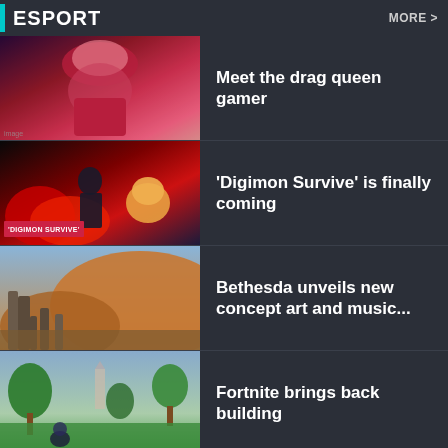ESPORT | MORE >
[Figure (photo): Drag queen gamer with large red hair wearing red jacket, gaming scene in background]
Meet the drag queen gamer
[Figure (photo): Digimon Survive game art showing anime character with Agumon on red flame background, label 'DIGIMON SURVIVE']
'Digimon Survive' is finally coming
[Figure (photo): Fantasy landscape concept art with ancient stone structures and orange sandy terrain, Bethesda game]
Bethesda unveils new concept art and music...
[Figure (photo): Fortnite game screenshot with tropical island landscape, character on ground]
Fortnite brings back building